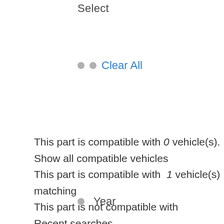Select
• • Clear All
This part is compatible with 0 vehicle(s).
Show all compatible vehicles
This part is compatible with 1 vehicle(s) matching
This part is not compatible with
Recent searches
• Year